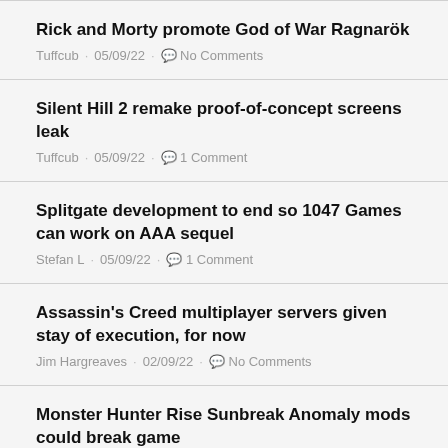Rick and Morty promote God of War Ragnarök
Tuffcub · 05/09/22 · No Comments
Silent Hill 2 remake proof-of-concept screens leak
Tuffcub · 05/09/22 · 1 Comment
Splitgate development to end so 1047 Games can work on AAA sequel
Stefan L · 05/09/22 · 1 Comment
Assassin's Creed multiplayer servers given stay of execution, for now
Jim Hargreaves · 02/09/22 · No Comments
Monster Hunter Rise Sunbreak Anomaly mods could break game
Jim Hargreaves · 02/09/22 · No Comments